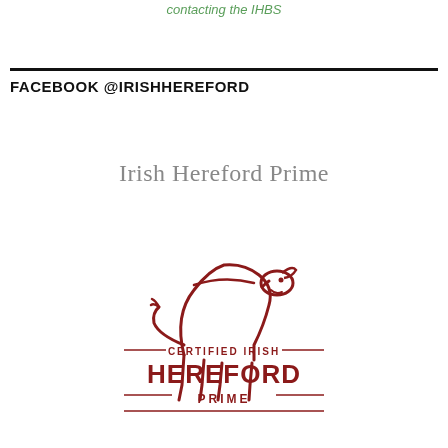contacting the IHBS
FACEBOOK @IRISHHEREFORD
Irish Hereford Prime
[Figure (logo): Certified Irish Hereford Prime logo with a line-art bull above the text CERTIFIED IRISH HEREFORD PRIME in dark red/maroon color]